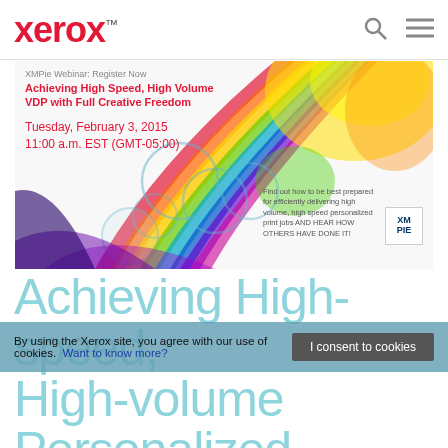xerox™
[Figure (illustration): XMPie Webinar banner with colorful rainbow/paint splash design. Text overlay: 'XMPie Webinar: Register Now', 'Achieving High Speed, High Volume VDP with Full Creative Freedom', 'Tuesday, February 3, 2015', '11:00 a.m. EST (GMT-05:00)'. Right side: 'Find out how to be best prepared for efficiently delivering high volume, high speed personalized print jobs AND HEAR HOW OTHERS HAVE DONE IT!' with XM PIE logo box.]
Achieving High-speed, High-volume Personalized Printing
By using the Xerox site, you agree with our use of cookies. Want to know more?
I consent to cookies